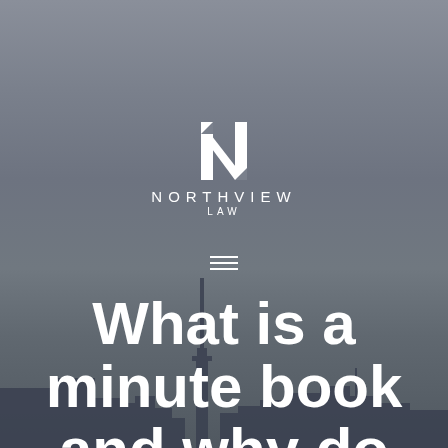[Figure (logo): Northview Law logo — stylized N mark above the words NORTHVIEW LAW in white on a city skyline background]
What is a minute book and why do